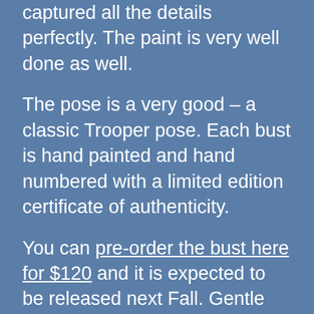captured all the details perfectly. The paint is very well done as well.
The pose is a very good – a classic Trooper pose. Each bust is hand painted and hand numbered with a limited edition certificate of authenticity.
You can pre-order the bust here for $120 and it is expected to be released next Fall. Gentle Giant is planning more Star Wars busts from the upcoming film, so if you're a big fan of the series you may want to jump on board sooner rather than later!